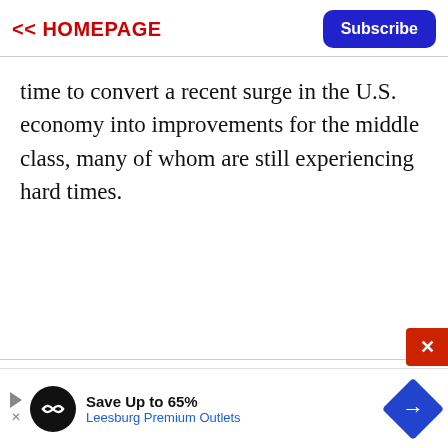<< HOMEPAGE   Subscribe
time to convert a recent surge in the U.S. economy into improvements for the middle class, many of whom are still experiencing hard times.
[Figure (infographic): Advertisement banner: Save Up to 65% Leesburg Premium Outlets, with logo and directional sign icon]